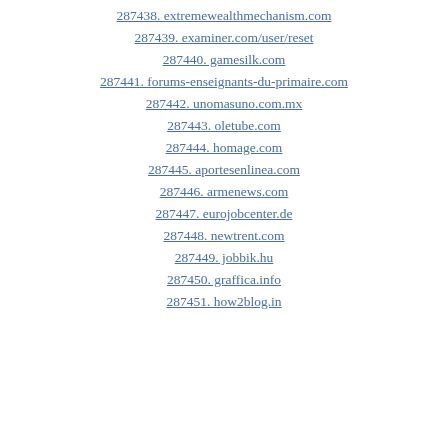287438. extremewealthmechanism.com
287439. examiner.com/user/reset
287440. gamesilk.com
287441. forums-enseignants-du-primaire.com
287442. unomasuno.com.mx
287443. oletube.com
287444. homage.com
287445. aportesenlinea.com
287446. armenews.com
287447. eurojobcenter.de
287448. newtrent.com
287449. jobbik.hu
287450. graffica.info
287451. how2blog.in